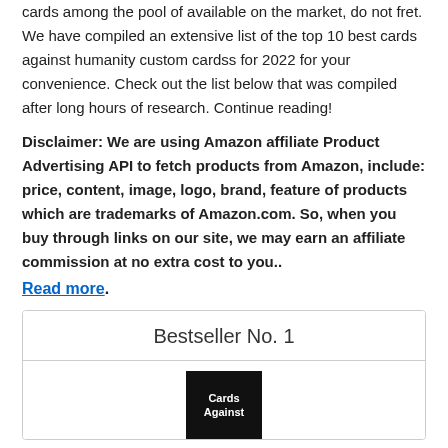cards among the pool of available on the market, do not fret. We have compiled an extensive list of the top 10 best cards against humanity custom cardss for 2022 for your convenience. Check out the list below that was compiled after long hours of research. Continue reading!
Disclaimer: We are using Amazon affiliate Product Advertising API to fetch products from Amazon, include: price, content, image, logo, brand, feature of products which are trademarks of Amazon.com. So, when you buy through links on our site, we may earn an affiliate commission at no extra cost to you.. Read more.
Bestseller No. 1
[Figure (photo): Cards Against Humanity product box image - black background with white text]